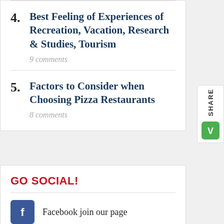4. Best Feeling of Experiences of Recreation, Vacation, Research & Studies, Tourism
9 comments
5. Factors to Consider when Choosing Pizza Restaurants
8 comments
GO SOCIAL!
Facebook join our page
Twitter follow us!